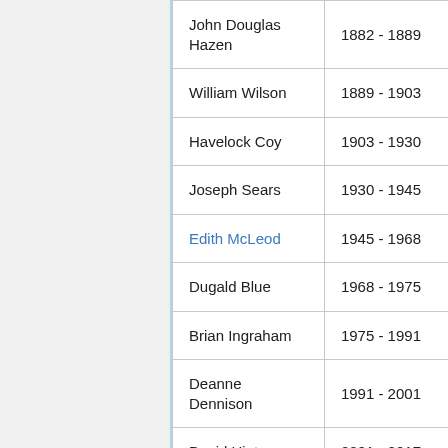| Name | Years |
| --- | --- |
| John Douglas Hazen | 1882 - 1889 |
| William Wilson | 1889 - 1903 |
| Havelock Coy | 1903 - 1930 |
| Joseph Sears | 1930 - 1945 |
| Edith McLeod | 1945 - 1968 |
| Dugald Blue | 1968 - 1975 |
| Brian Ingraham | 1975 - 1991 |
| Deanne Dennison | 1991 - 2001 |
| David Hinton | 2001 - 2017 |
| Shawna Bergin | 2017 - |